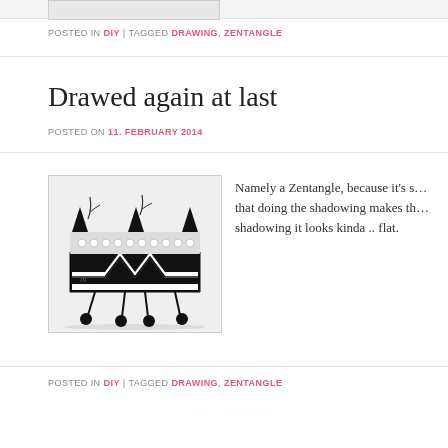[Figure (illustration): Partial view of a Zentangle drawing at top of page]
POSTED IN DIY | TAGGED DRAWING, ZENTANGLE
Drawed again at last
POSTED ON 11. FEBRUARY 2014
[Figure (illustration): A Zentangle drawing featuring black and white chevron/zigzag patterns forming a crown-like shape with circular dots on top, decorative vine elements, and small black spheres at the bottom on a light gray background]
Namely a Zentangle, because it's s… that doing the shadowing makes th… shadowing it looks kinda .. flat.
POSTED IN DIY | TAGGED DRAWING, ZENTANGLE